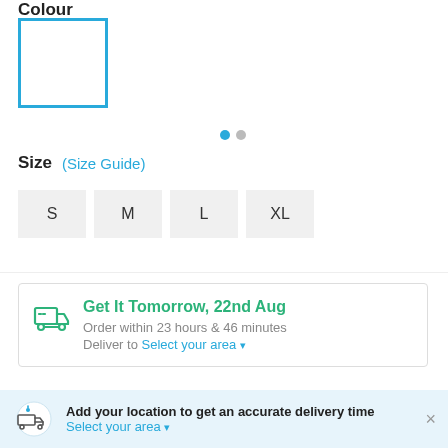Colour
[Figure (other): White colour swatch with blue border, selected]
[Figure (other): Pagination dots: filled blue dot and grey dot]
Size  (Size Guide)
S  M  L  XL (size selector buttons)
Get It Tomorrow, 22nd Aug
Order within 23 hours & 46 minutes
Deliver to Select your area
Add your location to get an accurate delivery time
Select your area